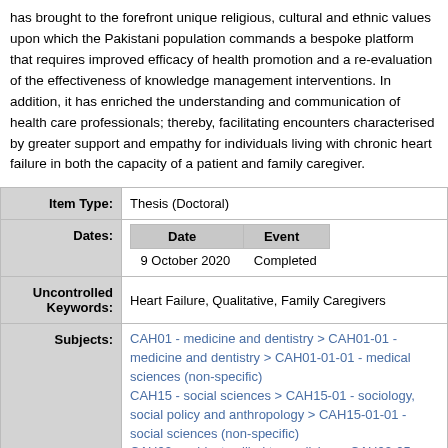has brought to the forefront unique religious, cultural and ethnic values upon which the Pakistani population commands a bespoke platform that requires improved efficacy of health promotion and a re-evaluation of the effectiveness of knowledge management interventions. In addition, it has enriched the understanding and communication of health care professionals; thereby, facilitating encounters characterised by greater support and empathy for individuals living with chronic heart failure in both the capacity of a patient and family caregiver.
| Item Type: | Thesis (Doctoral) |
| --- | --- |
| Dates: | Date | Event
9 October 2020 | Completed |
| Uncontrolled Keywords: | Heart Failure, Qualitative, Family Caregivers |
| Subjects: | CAH01 - medicine and dentistry > CAH01-01 - medicine and dentistry > CAH01-01-01 - medical sciences (non-specific)
CAH15 - social sciences > CAH15-01 - sociology, social policy and anthropology > CAH15-01-01 - social sciences (non-specific)
CAH02 - subjects allied to medicine > CAH02-05 - |